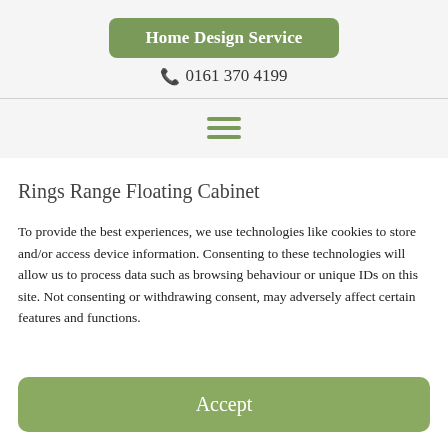Home Design Service
📞 0161 370 4199
[Figure (other): Hamburger menu icon with three horizontal green lines]
Rings Range Floating Cabinet
To provide the best experiences, we use technologies like cookies to store and/or access device information. Consenting to these technologies will allow us to process data such as browsing behaviour or unique IDs on this site. Not consenting or withdrawing consent, may adversely affect certain features and functions.
Accept